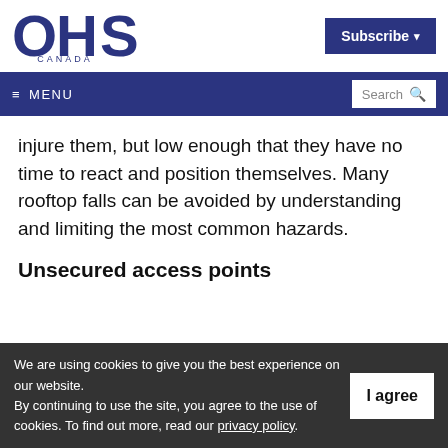[Figure (logo): OHS Canada logo with large stylized letters OHS and CANADA below]
Subscribe ▾
≡ MENU    Search 🔍
injure them, but low enough that they have no time to react and position themselves. Many rooftop falls can be avoided by understanding and limiting the most common hazards.
Unsecured access points
We are using cookies to give you the best experience on our website.
By continuing to use the site, you agree to the use of cookies. To find out more, read our privacy policy.
I agree